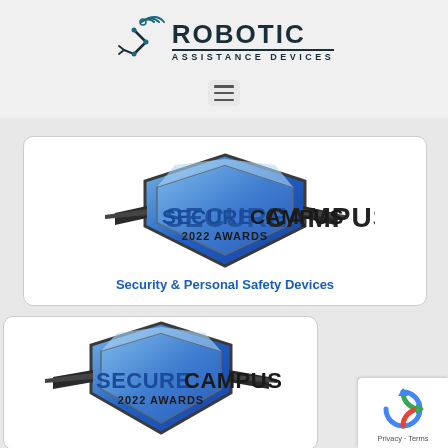[Figure (logo): Robotic Assistance Devices logo with robotic arm/signal icon and text ROBOTIC ASSISTANCE DEVICES]
[Figure (logo): Secure Campus 2022 Awards shield logo with text Security & Personal Safety Devices]
[Figure (logo): Secure Campus 2022 Awards shield logo (partially visible, second instance)]
[Figure (logo): Google reCAPTCHA badge with Privacy and Terms links]